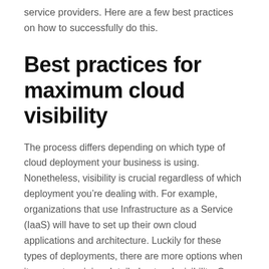service providers. Here are a few best practices on how to successfully do this.
Best practices for maximum cloud visibility
The process differs depending on which type of cloud deployment your business is using. Nonetheless, visibility is crucial regardless of which deployment you’re dealing with. For example, organizations that use Infrastructure as a Service (IaaS) will have to set up their own cloud applications and architecture. Luckily for these types of deployments, there are more options when it comes to gaining detailed network visibility. On the other hand,